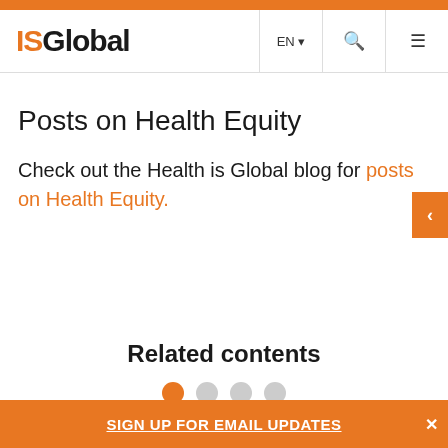ISGlobal | EN | search | menu
Posts on Health Equity
Check out the Health is Global blog for posts on Health Equity.
Related contents
SIGN UP FOR EMAIL UPDATES